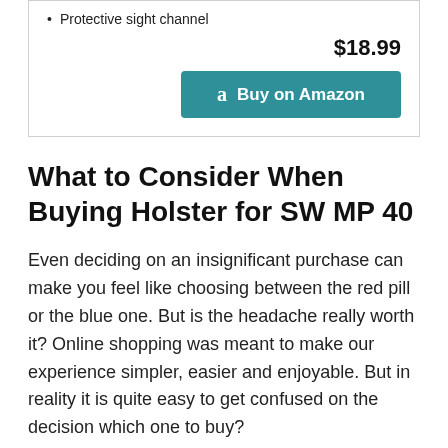Protective sight channel
$18.99
Buy on Amazon
What to Consider When Buying Holster for SW MP 40
Even deciding on an insignificant purchase can make you feel like choosing between the red pill or the blue one. But is the headache really worth it? Online shopping was meant to make our experience simpler, easier and enjoyable. But in reality it is quite easy to get confused on the decision which one to buy?